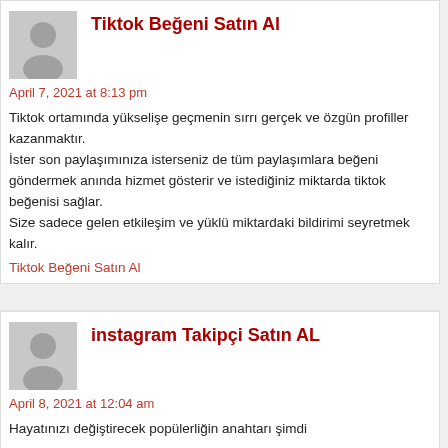Tiktok Beğeni Satın Al
April 7, 2021 at 8:13 pm
Tiktok ortamında yükselişe geçmenin sırrı gerçek ve özgün profiller kazanmaktır.
İster son paylaşımınıza isterseniz de tüm paylaşımlara beğeni göndermek anında hizmet gösterir ve istediğiniz miktarda tiktok beğenisi sağlar.
Size sadece gelen etkileşim ve yüklü miktardaki bildirimi seyretmek kalır.
Tiktok Beğeni Satın Al
instagram Takipçi Satın AL
April 8, 2021 at 12:04 am
Hayatınızı değiştirecek popülerliğin anahtarı şimdi